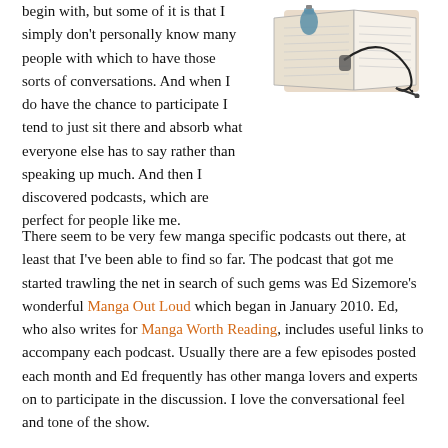begin with, but some of it is that I simply don't personally know many people with which to have those sorts of conversations. And when I do have the chance to participate I tend to just sit there and absorb what everyone else has to say rather than speaking up much. And then I discovered podcasts, which are perfect for people like me.
[Figure (illustration): Illustration of an open book or notebook with a headphone/audio cable and some objects on top, suggesting podcasting or audio/reading media.]
There seem to be very few manga specific podcasts out there, at least that I've been able to find so far. The podcast that got me started trawling the net in search of such gems was Ed Sizemore's wonderful Manga Out Loud which began in January 2010. Ed, who also writes for Manga Worth Reading, includes useful links to accompany each podcast. Usually there are a few episodes posted each month and Ed frequently has other manga lovers and experts on to participate in the discussion. I love the conversational feel and tone of the show.